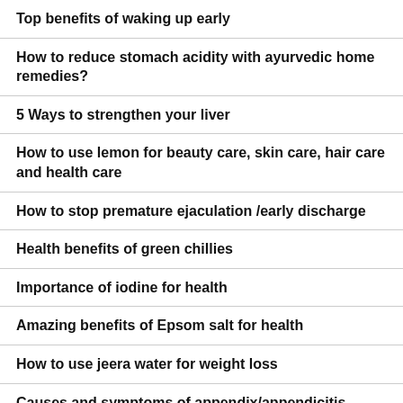Top benefits of waking up early
How to reduce stomach acidity with ayurvedic home remedies?
5 Ways to strengthen your liver
How to use lemon for beauty care, skin care, hair care and health care
How to stop premature ejaculation /early discharge
Health benefits of green chillies
Importance of iodine for health
Amazing benefits of Epsom salt for health
How to use jeera water for weight loss
Causes and symptoms of appendix/appendicitis